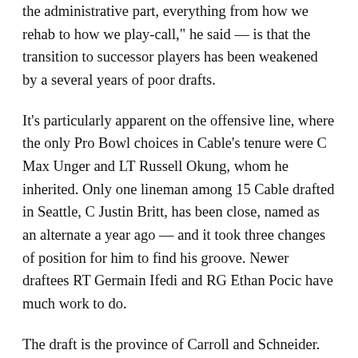the administrative part, everything from how we rehab to how we play-call," he said — is that the transition to successor players has been weakened by a several years of poor drafts.
It's particularly apparent on the offensive line, where the only Pro Bowl choices in Cable's tenure were C Max Unger and LT Russell Okung, whom he inherited. Only one lineman among 15 Cable drafted in Seattle, C Justin Britt, has been close, named as an alternate a year ago — and it took three changes of position for him to find his groove. Newer draftees RT Germain Ifedi and RG Ethan Pocic have much work to do.
The draft is the province of Carroll and Schneider. But as of now they have traded away their second- and third-round picks in 2018. In free agency, the Seahawks could be more aggressive, but that depends on how many big salaries they